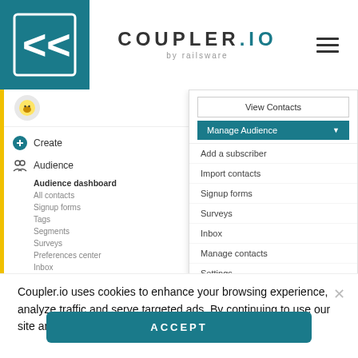[Figure (screenshot): COUPLER.IO by railsware website header with teal logo box on left, centered wordmark, and hamburger menu on right]
[Figure (screenshot): Mailchimp Audience dashboard showing sidebar navigation with Create, Audience (expanded with sub-items), Campaigns, Automations; main panel showing Audience title, Olga audience name, contact count 25 with 1 subscriber, promotional banner, and Manage Audience dropdown menu with options: Add a subscriber, Import contacts, Signup forms, Surveys, Inbox, Manage contacts, Settings]
Coupler.io uses cookies to enhance your browsing experience, analyze traffic and serve targeted ads. By continuing to use our site and application, you agree to our Privacy Policy
ACCEPT